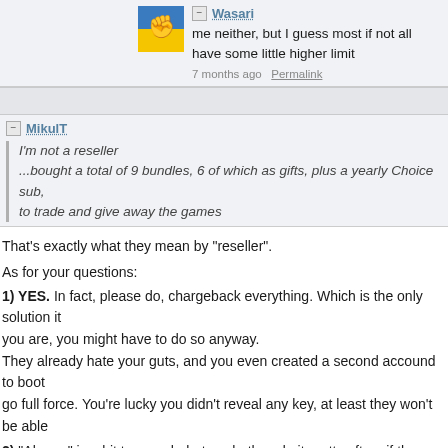Wasari
me neither, but I guess most if not all have some little higher limit
7 months ago  Permalink
MikulT
I'm not a reseller
...bought a total of 9 bundles, 6 of which as gifts, plus a yearly Choice sub, to trade and give away the games
That's exactly what they mean by "reseller".
As for your questions:
1) YES. In fact, please do, chargeback everything. Which is the only solution it you are, you might have to do so anyway.
They already hate your guts, and you even created a second accound to boot go full force. You're lucky you didn't reveal any key, at least they won't be able
2) "Always" is a bit too much, but yeah, they do it pretty often, if they suspect s As to what constitutes a "reseller", their definition is kinda vague, but TL;DR: if own account, then you're at risk.
Closing tickets without even adding a copypasted "we believe you to be a